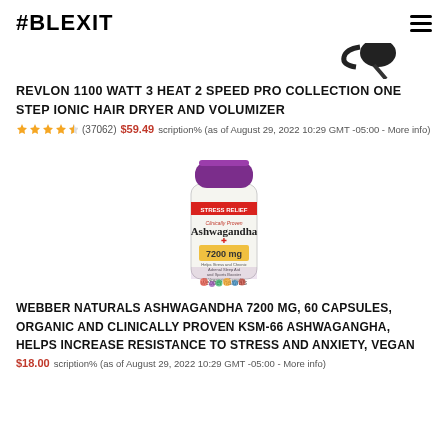#BLEXIT
[Figure (photo): Partial image of Revlon hair dryer product (top portion visible)]
REVLON 1100 WATT 3 HEAT 2 SPEED PRO COLLECTION ONE STEP IONIC HAIR DRYER AND VOLUMIZER
★★★★½ (37062) $59.49 scription% (as of August 29, 2022 10:29 GMT -05:00 - More info)
[Figure (photo): Webber Naturals Ashwagandha supplement bottle, 7200mg, 60 vegetarian capsules, stress relief, purple cap, white bottle with red and green label]
WEBBER NATURALS ASHWAGANDHA 7200 MG, 60 CAPSULES, ORGANIC AND CLINICALLY PROVEN KSM-66 ASHWAGANGHA, HELPS INCREASE RESISTANCE TO STRESS AND ANXIETY, VEGAN
$18.00 scription% (as of August 29, 2022 10:29 GMT -05:00 - More info)